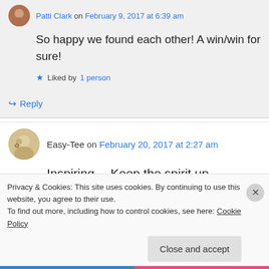Patti Clark on February 9, 2017 at 6:39 am
So happy we found each other! A win/win for sure!
Liked by 1 person
↪ Reply
Easy-Tee on February 20, 2017 at 2:27 am
Inspiring… Keep the spirit up… Women are blessings to mankind. Look at mothers for
Privacy & Cookies: This site uses cookies. By continuing to use this website, you agree to their use.
To find out more, including how to control cookies, see here: Cookie Policy
Close and accept